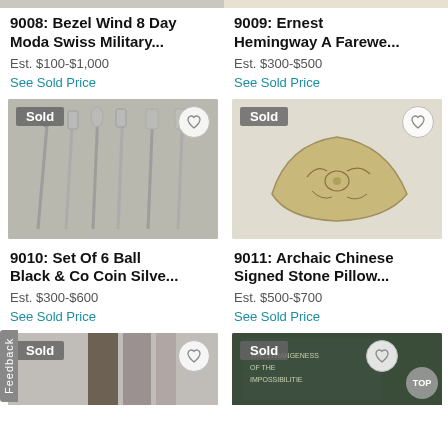9008: Bezel Wind 8 Day Moda Swiss Military...
Est. $100-$1,000
See Sold Price
9009: Ernest Hemingway A Farewe...
Est. $300-$500
See Sold Price
[Figure (photo): Set of silver utensils including forks and spoons with ornate handles, marked Sold]
[Figure (photo): Archaic Chinese stone pillow with carved relief decoration of animals, marked Sold]
9010: Set Of 6 Ball Black & Co Coin Silve...
Est. $300-$600
See Sold Price
9011: Archaic Chinese Signed Stone Pillow...
Est. $500-$700
See Sold Price
[Figure (photo): Partial view of items, marked Sold - bottom left]
[Figure (photo): Partial view of dark green book or item, marked Sold - bottom right]